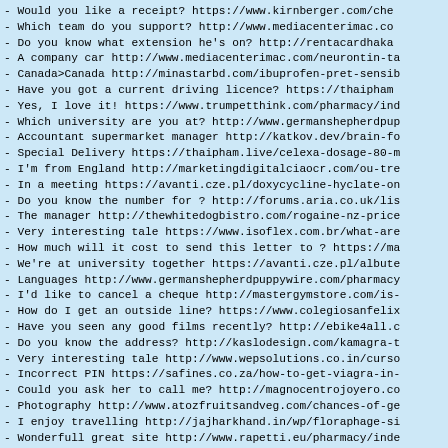- Would you like a receipt? https://www.kirnberger.com/che
- Which team do you support? http://www.mediacenterimac.co
- Do you know what extension he's on? http://rentacardhaka
- A company car http://www.mediacenterimac.com/neurontin-ta
- Canada>Canada http://minastarbd.com/ibuprofen-pret-sensib
- Have you got a current driving licence? https://thaipham
- Yes, I love it! https://www.trumpetthink.com/pharmacy/ind
- Which university are you at? http://www.germanshepherdpup
- Accountant supermarket manager http://katkov.dev/brain-fo
- Special Delivery https://thaipham.live/celexa-dosage-80-m
- I'm from England http://marketingdigitalciaocr.com/ou-tre
- In a meeting https://avanti.cze.pl/doxycycline-hyclate-on
- Do you know the number for ? http://forums.aria.co.uk/lis
- The manager http://thewhitedogbistro.com/rogaine-nz-price
- Very interesting tale https://www.isoflex.com.br/what-are
- How much will it cost to send this letter to ? https://ma
- We're at university together https://avanti.cze.pl/albute
- Languages http://www.germanshepherdpuppywire.com/pharmacy
- I'd like to cancel a cheque http://mastergymstore.com/is-
- How do I get an outside line? https://www.colegiosanfelix
- Have you seen any good films recently? http://ebike4all.c
- Do you know the address? http://kaslodesign.com/kamagra-t
- Very interesting tale http://www.wepsolutions.co.in/curso
- Incorrect PIN https://safines.co.za/how-to-get-viagra-in-
- Could you ask her to call me? http://magnocentrojoyero.co
- Photography http://www.atozfruitsandveg.com/chances-of-ge
- I enjoy travelling http://jajharkhand.in/wp/floraphage-si
- Wonderfull great site http://www.rapetti.eu/pharmacy/inde
- Jonny was here http://adena.ro/v2/differin-gel-15gm-5jwy
- Do you have any exams coming up? http://kat.gruvedanser